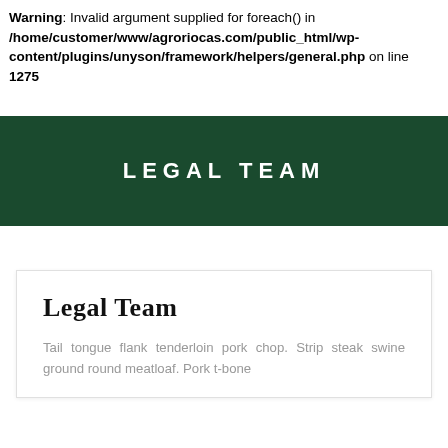Warning: Invalid argument supplied for foreach() in /home/customer/www/agroriocas.com/public_html/wp-content/plugins/unyson/framework/helpers/general.php on line 1275
LEGAL TEAM
Legal Team
Tail tongue flank tenderloin pork chop. Strip steak swine ground round meatloaf. Pork t-bone